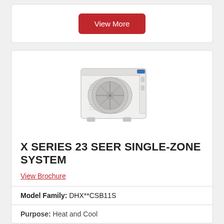[Figure (other): Red 'View More' button (partial top card)]
[Figure (photo): Outdoor mini-split air conditioning unit, white box with circular fan grille, angled perspective view]
X SERIES 23 SEER SINGLE-ZONE SYSTEM
View Brochure
Model Family: DHX**CSB11S
Purpose: Heat and Cool